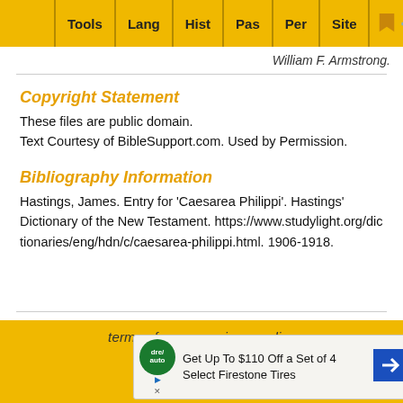Tools | Lang | Hist | Pas | Per | Site
William F. Armstrong.
Copyright Statement
These files are public domain.
Text Courtesy of BibleSupport.com. Used by Permission.
Bibliography Information
Hastings, James. Entry for 'Caesarea Philippi'. Hastings' Dictionary of the New Testament. https://www.studylight.org/dictionaries/eng/hdn/c/caesarea-philippi.html. 1906-1918.
terms of use  •  privacy policy
[Figure (screenshot): Advertisement banner: Get Up To $110 Off a Set of 4 Select Firestone Tires]